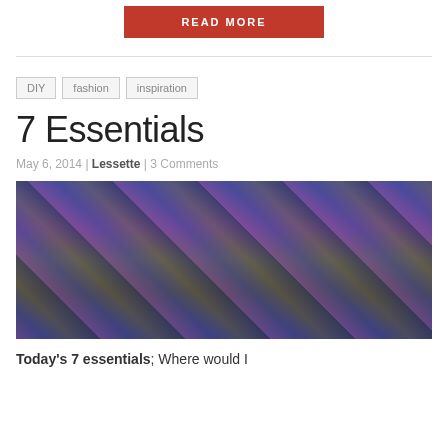READ MORE
DIY | fashion | inspiration
7 Essentials
May 6, 2014 | Lessette | 3 Comments
[Figure (photo): Close-up photo of a person wearing a grey top and a dark leather vest, with colorful patterned sleeves visible on both sides, and a blue background on the right edge.]
Today's 7 essentials; Where would I